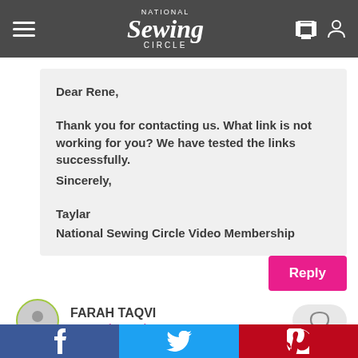National Sewing Circle
Dear Rene,

Thank you for contacting us. What link is not working for you? We have tested the links successfully.
Sincerely,

Taylar
National Sewing Circle Video Membership
Reply
FARAH TAQVI
September 18th, 2021